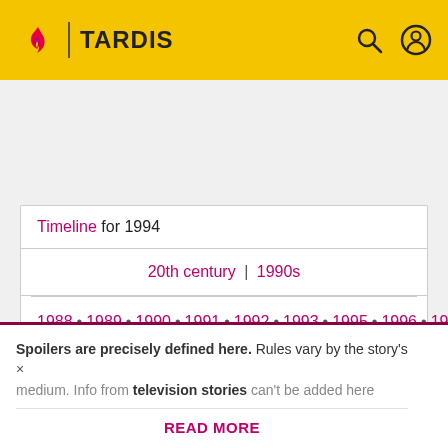TARDIS
| Timeline for 1994 |
| 20th century | 1990s |
| 1988 • 1989 • 1990 • 1991 • 1992 • 1993 • 1995 • 1996 • 1997 • 1998 • 1999 • 2000 |
Spoilers are precisely defined here. Rules vary by the story's medium. Info from television stories can't be added here
READ MORE